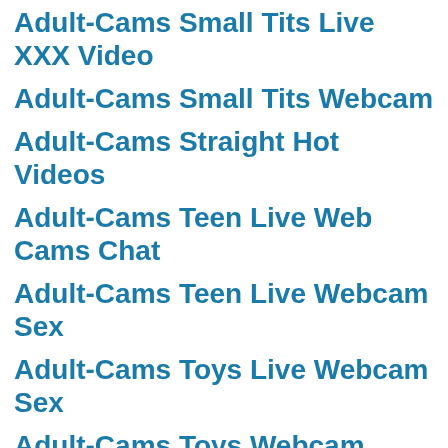Adult-Cams Small Tits Live XXX Video
Adult-Cams Small Tits Webcam
Adult-Cams Straight Hot Videos
Adult-Cams Teen Live Web Cams Chat
Adult-Cams Teen Live Webcam Sex
Adult-Cams Toys Live Webcam Sex
Adult-Cams Toys Webcam Chat Room
Adult-Cams Toys XXX Cam Chat